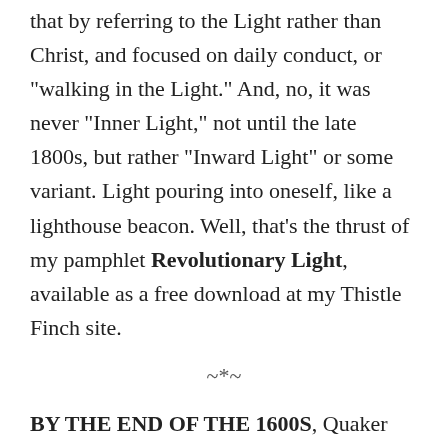that by referring to the Light rather than Christ, and focused on daily conduct, or "walking in the Light." And, no, it was never "Inner Light," not until the late 1800s, but rather "Inward Light" or some variant. Light pouring into oneself, like a lighthouse beacon. Well, that's the thrust of my pamphlet Revolutionary Light, available as a free download at my Thistle Finch site.
~*~
BY THE END OF THE 1600S, Quaker leadership had resolved to push away from theological correctness in favor of right daily practice – orthopraxis rather than orthodoxy.
The choice has come back to bite us repeatedly.